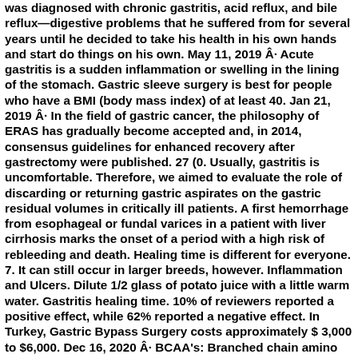was diagnosed with chronic gastritis, acid reflux, and bile reflux—digestive problems that he suffered from for several years until he decided to take his health in his own hands and start do things on his own. May 11, 2019 · Acute gastritis is a sudden inflammation or swelling in the lining of the stomach. Gastric sleeve surgery is best for people who have a BMI (body mass index) of at least 40. Jan 21, 2019 · In the field of gastric cancer, the philosophy of ERAS has gradually become accepted and, in 2014, consensus guidelines for enhanced recovery after gastrectomy were published. 27 (0. Usually, gastritis is uncomfortable. Therefore, we aimed to evaluate the role of discarding or returning gastric aspirates on the gastric residual volumes in critically ill patients. A first hemorrhage from esophageal or fundal varices in a patient with liver cirrhosis marks the onset of a period with a high risk of rebleeding and death. Healing time is different for everyone. 7. It can still occur in larger breeds, however. Inflammation and Ulcers. Dilute 1/2 glass of potato juice with a little warm water. Gastritis healing time. 10% of reviewers reported a positive effect, while 62% reported a negative effect. In Turkey, Gastric Bypass Surgery costs approximately $ 3,000 to $6,000. Dec 16, 2020 · BCAA's: Branched chain amino acids (BCAA) are one of the most important supplements for improving recovery. 6 and 83 ± 11. Esophagitis, inflammation of the esophagus. I find these to be essential during recovery. I had the eradication therapy and have remained clear, this was confirmed through